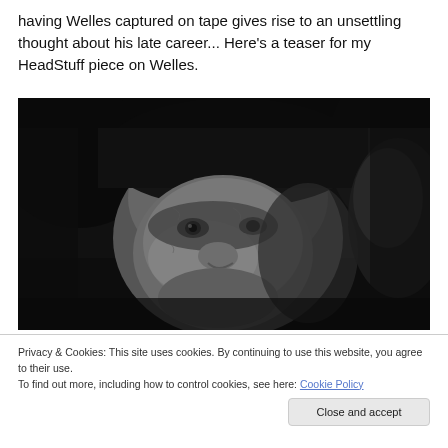having Welles captured on tape gives rise to an unsettling thought about his late career... Here's a teaser for my HeadStuff piece on Welles.
[Figure (photo): Black and white photograph of Orson Welles, close-up of his face looking slightly to the side with a subtle expression, dark dramatic lighting.]
Privacy & Cookies: This site uses cookies. By continuing to use this website, you agree to their use.
To find out more, including how to control cookies, see here: Cookie Policy
Close and accept